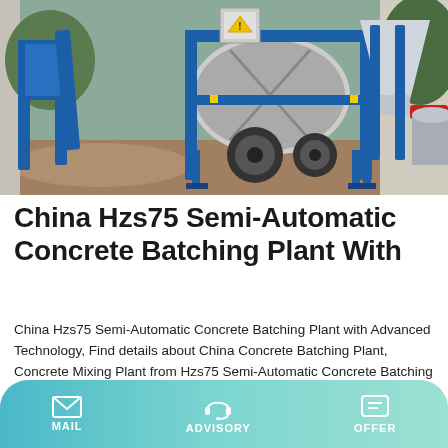[Figure (photo): Blue concrete batching plant machinery with mixer drum, hopper, and support structure on a construction site with gravel and dirt ground.]
China Hzs75 Semi-Automatic Concrete Batching Plant With
China Hzs75 Semi-Automatic Concrete Batching Plant with Advanced Technology, Find details about China Concrete Batching Plant, Concrete Mixing Plant from Hzs75 Semi-Automatic Concrete Batching Plant with Advanced Technology - Zhengzhou Changli Machinery Made Co., Ltd.
Learn More
MAIL   ADVISORY   OFFER